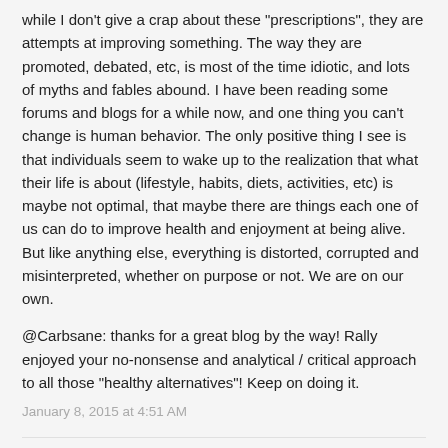while I don't give a crap about these "prescriptions", they are attempts at improving something. The way they are promoted, debated, etc, is most of the time idiotic, and lots of myths and fables abound. I have been reading some forums and blogs for a while now, and one thing you can't change is human behavior. The only positive thing I see is that individuals seem to wake up to the realization that what their life is about (lifestyle, habits, diets, activities, etc) is maybe not optimal, that maybe there are things each one of us can do to improve health and enjoyment at being alive. But like anything else, everything is distorted, corrupted and misinterpreted, whether on purpose or not. We are on our own.
@Carbsane: thanks for a great blog by the way! Rally enjoyed your no-nonsense and analytical / critical approach to all those "healthy alternatives"! Keep on doing it.
January 8, 2015 at 4:51 AM
Screennamemarequired said